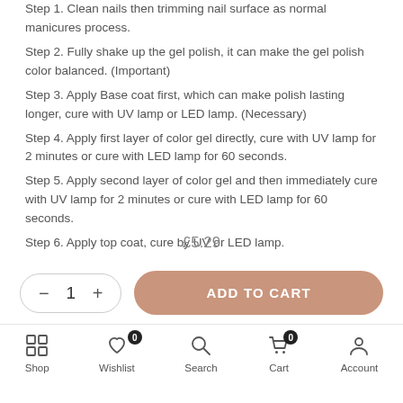Step 1. Clean nails then trimming nail surface as normal manicures process.
Step 2. Fully shake up the gel polish, it can make the gel polish color balanced. (Important)
Step 3. Apply Base coat first, which can make polish lasting longer, cure with UV lamp or LED lamp. (Necessary)
Step 4. Apply first layer of color gel directly, cure with UV lamp for 2 minutes or cure with LED lamp for 60 seconds.
Step 5. Apply second layer of color gel and then immediately cure with UV lamp for 2 minutes or cure with LED lamp for 60 seconds.
Step 6. Apply top coat, cure by UV or LED lamp.
£5.29
Shop | Wishlist 0 | Search | Cart 0 | Account